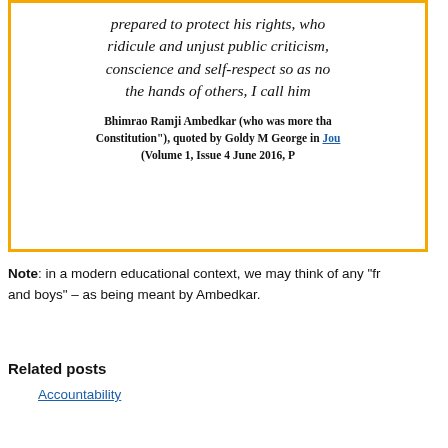prepared to protect his rights, who ridicule and unjust public criticism, conscience and self-respect so as not to suffer humiliation at the hands of others, I call him educated.
Bhimrao Ramji Ambedkar (who was more than the "father of the Constitution"), quoted by Goldy M George in Journal of Human Rights (Volume 1, Issue 4 June 2016, P...
Note: in a modern educational context, we may think of any "fr... and boys" – as being meant by Ambedkar.
Related posts
Accountability